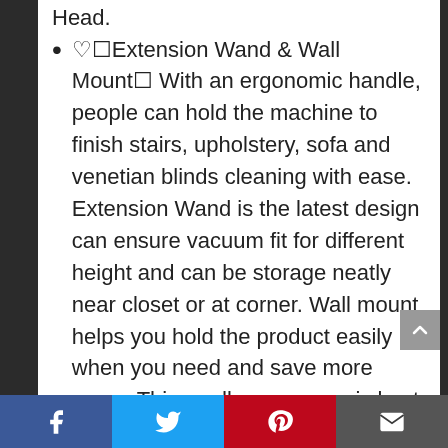Head.
♡✦Extension Wand & Wall Mount✦ With an ergonomic handle, people can hold the machine to finish stairs, upholstery, sofa and venetian blinds cleaning with ease. Extension Wand is the latest design can ensure vacuum fit for different height and can be storage neatly near closet or at corner. Wall mount helps you hold the product easily when you need and save more space.This cordless vacuum is best cristmas and birthday gift for your lover.
Facebook Twitter Pinterest Email